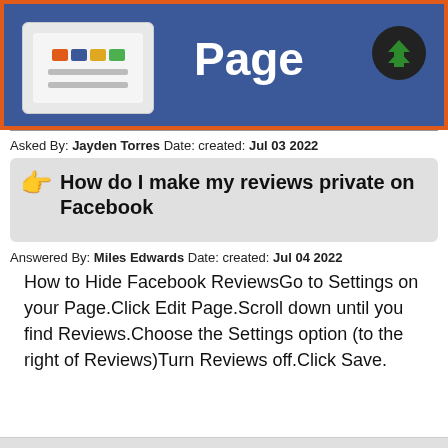[Figure (screenshot): Facebook page header banner with screenshot thumbnail on left, large text 'Page' in white on blue background, and green arrow circle icon on right]
Asked By: Jayden Torres Date: created: Jul 03 2022
How do I make my reviews private on Facebook
Answered By: Miles Edwards Date: created: Jul 04 2022
How to Hide Facebook ReviewsGo to Settings on your Page.Click Edit Page.Scroll down until you find Reviews.Choose the Settings option (to the right of Reviews)Turn Reviews off.Click Save.